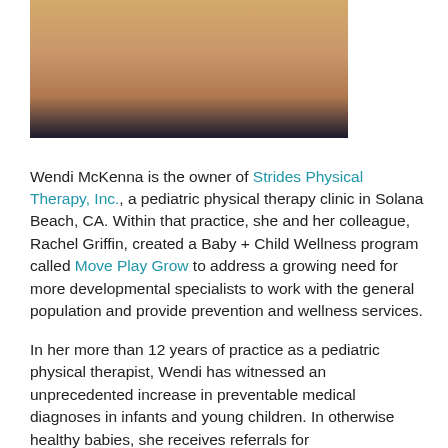[Figure (photo): Portrait photo of a woman with blonde hair, cropped at the top of the page.]
Wendi McKenna is the owner of Strides Physical Therapy, Inc., a pediatric physical therapy clinic in Solana Beach, CA. Within that practice, she and her colleague, Rachel Griffin, created a Baby + Child Wellness program called Move Play Grow to address a growing need for more developmental specialists to work with the general population and provide prevention and wellness services.
In her more than 12 years of practice as a pediatric physical therapist, Wendi has witnessed an unprecedented increase in preventable medical diagnoses in infants and young children. In otherwise healthy babies, she receives referrals for plagiocephaly/brachycephaly, torticollis, and general developmental delay more frequently than ever. And it is hard to ignore the growing number of babies out in